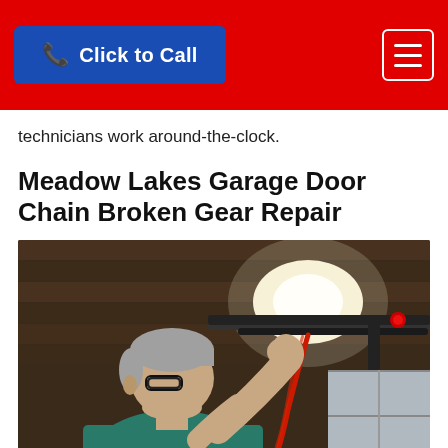Click to Call
technicians work around-the-clock.
Meadow Lakes Garage Door Chain Broken Gear Repair
[Figure (photo): A middle-aged man wearing glasses and a teal shirt working on a garage door opener mechanism mounted to the ceiling, holding a red rope/cord, with wooden ceiling planks and a bright light visible above.]